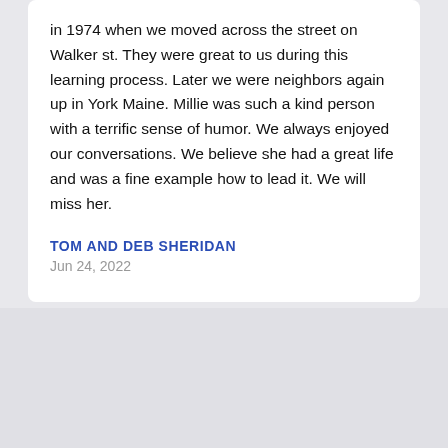in 1974 when we moved across the street on Walker st. They were great to us during this learning process. Later we were neighbors again up in York Maine. Millie was such a kind person with a terrific sense of humor. We always enjoyed our conversations. We believe she had a great life and was a fine example how to lead it. We will miss her.
TOM AND DEB SHERIDAN
Jun 24, 2022